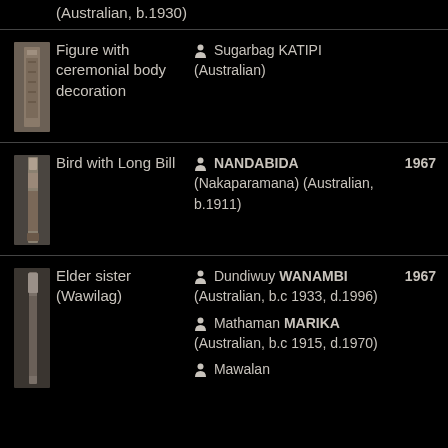(Australian, b.1930)
[Figure (photo): Small thumbnail of Figure with ceremonial body decoration artwork]
Figure with ceremonial body decoration
Sugarbag KATIPI (Australian)
[Figure (photo): Small thumbnail of Bird with Long Bill artwork]
Bird with Long Bill
NANDABIDA (Nakaparamana) (Australian, b.1911)
1967
[Figure (photo): Small thumbnail of Elder sister (Wawilag) artwork]
Elder sister (Wawilag)
Dundiwuy WANAMBI (Australian, b.c 1933, d.1996)
Mathaman MARIKA (Australian, b.c 1915, d.1970)
Mawalan
1967